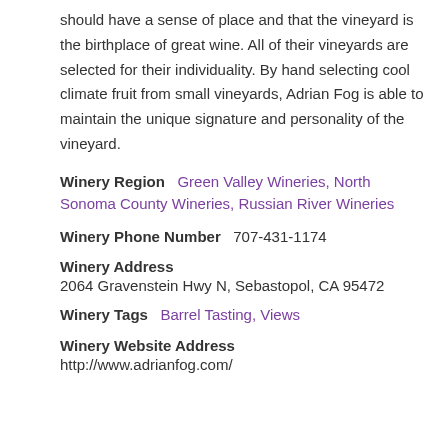should have a sense of place and that the vineyard is the birthplace of great wine. All of their vineyards are selected for their individuality. By hand selecting cool climate fruit from small vineyards, Adrian Fog is able to maintain the unique signature and personality of the vineyard.
Winery Region   Green Valley Wineries, North Sonoma County Wineries, Russian River Wineries
Winery Phone Number   707-431-1174
Winery Address
2064 Gravenstein Hwy N, Sebastopol, CA 95472
Winery Tags   Barrel Tasting, Views
Winery Website Address
http://www.adrianfog.com/